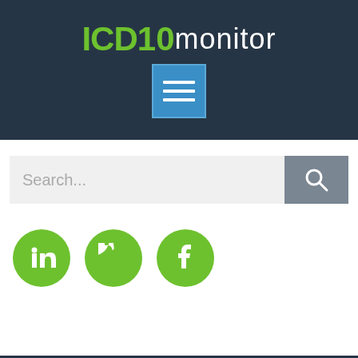[Figure (logo): ICD10monitor logo with green bold ICD10 text and white monitor text on dark navy background, with a blue hamburger menu button below]
[Figure (screenshot): Search bar with placeholder text 'Search...' and a gray search button with magnifying glass icon]
[Figure (infographic): Three green circular social media icons: LinkedIn, Twitter, and Facebook]
STAY CONNECTED